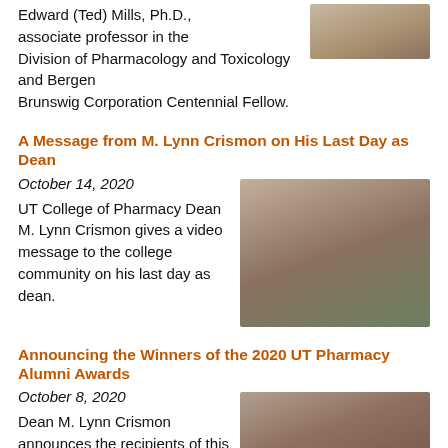Edward (Ted) Mills, Ph.D., associate professor in the Division of Pharmacology and Toxicology and Bergen Brunswig Corporation Centennial Fellow.
A Message from M. Lynn Crismon on His Last Day as Dean
October 14, 2020
UT College of Pharmacy Dean M. Lynn Crismon gives a video message to the college community on his last day as dean.
[Figure (photo): Photo of M. Lynn Crismon giving a video message outdoors]
Announcing the Winners of the 2020 UT Pharmacy Alumni Awards
October 8, 2020
Dean M. Lynn Crismon announces the recipients of this year's Alumni Awards.
[Figure (photo): Photo of Dean M. Lynn Crismon making a hand gesture]